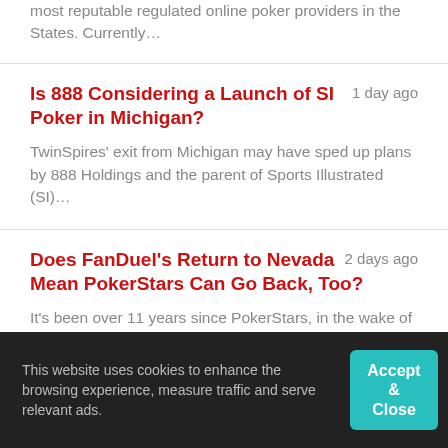most reputable regulated online poker providers in the States. Currently…
Is 888 Considering a Launch of SI Poker in Michigan?
1 day ago
TwinSpires' exit from Michigan may have sped up plans by 888 Holdings and the parent of Sports Illustrated (SI)…
Does FanDuel's Return to Nevada Mean PokerStars Can Go Back, Too?
2 days ago
It's been over 11 years since PokerStars, in the wake of
This website uses cookies to enhance the browsing experience, measure traffic and serve relevant ads.